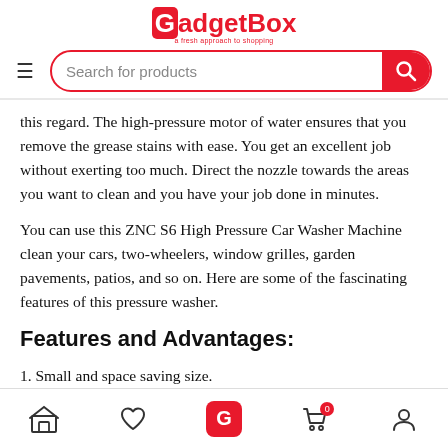GadgetBox - Search for products header
this regard. The high-pressure motor of water ensures that you remove the grease stains with ease. You get an excellent job without exerting too much. Direct the nozzle towards the areas you want to clean and you have your job done in minutes.
You can use this ZNC S6 High Pressure Car Washer Machine clean your cars, two-wheelers, window grilles, garden pavements, patios, and so on. Here are some of the fascinating features of this pressure washer.
Features and Advantages:
1. Small and space saving size.
Bottom navigation bar: Home, Wishlist, GadgetBox, Cart (0), Account